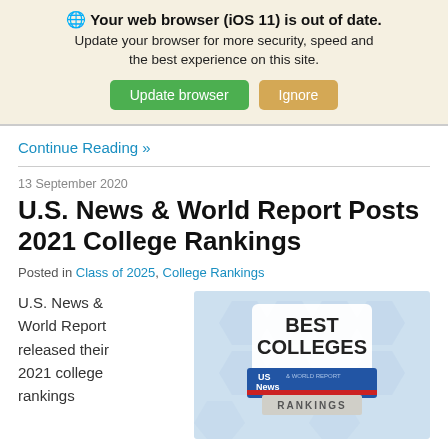🌐 Your web browser (iOS 11) is out of date. Update your browser for more security, speed and the best experience on this site. Update browser | Ignore
Continue Reading »
13 September 2020
U.S. News & World Report Posts 2021 College Rankings
Posted in Class of 2025, College Rankings
U.S. News & World Report released their 2021 college rankings
[Figure (illustration): U.S. News & World Report Best Colleges Rankings badge/logo on a light blue background with hexagonal pattern]